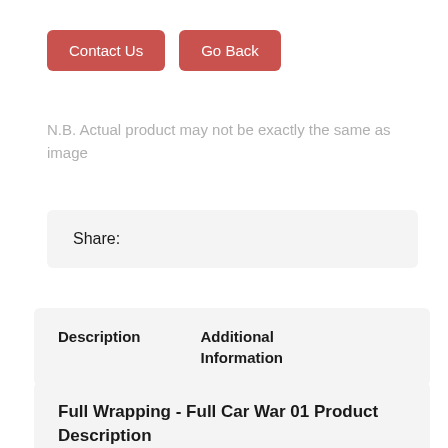[Figure (screenshot): Two red rounded buttons labeled 'Contact Us' and 'Go Back']
N.B. Actual product may not be exactly the same as image
Share:
Description	Additional Information
Full Wrapping - Full Car War 01 Product Description